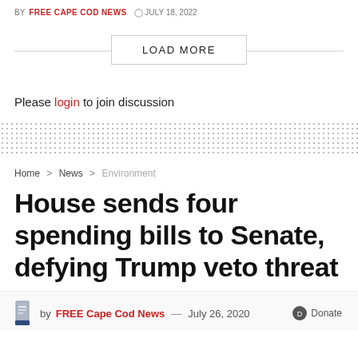BY FREE CAPE COD NEWS   JULY 18, 2022
LOAD MORE
Please login to join discussion
Home > News > Environment
House sends four spending bills to Senate, defying Trump veto threat
by FREE Cape Cod News — July 26, 2020